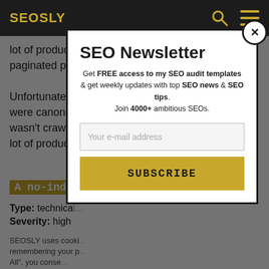SEOSLY
lot of products and extensive paginated product categories.
Unfortunately, all paginated pages were canonicalized to ... wasn't crawling ... lot of products...
A no-index
Type: technical
Severity: high
SEOSLY uses cooki... remembering your p... All", you conse...
SEO Newsletter
Get FREE access to my SEO audit templates & get weekly updates with top SEO news & SEO tips. Join 4000+ ambitious SEOs.
Your e-mail address
SUBSCRIBE